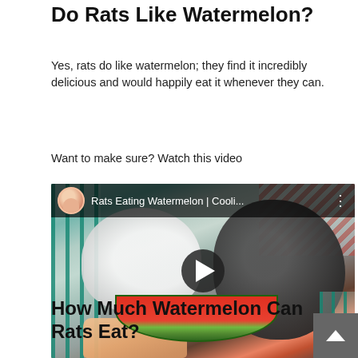Do Rats Like Watermelon?
Yes, rats do like watermelon; they find it incredibly delicious and would happily eat it whenever they can.
Want to make sure? Watch this video
[Figure (screenshot): YouTube video thumbnail showing two rats eating a watermelon slice held by a human hand, inside a cage. Video title reads 'Rats Eating Watermelon | Cooli...' with a channel avatar and play button overlay.]
How Much Watermelon Can Rats Eat?